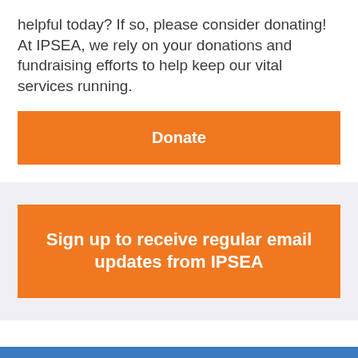helpful today? If so, please consider donating! At IPSEA, we rely on your donations and fundraising efforts to help keep our vital services running.
Donate
Sign up to receive regular email updates from IPSEA